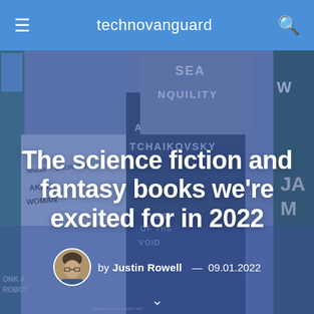technovanguard
[Figure (photo): Collage of science fiction and fantasy book covers with a blue overlay tint, including books by Nnedi Okorafor, Adrian Tchaikovsky, and others. Titles visible include 'Sea of Tranquility', 'Eyes of the Void'.]
The science fiction and fantasy books we're excited for in 2022
by Justin Rowell — 09.01.2022